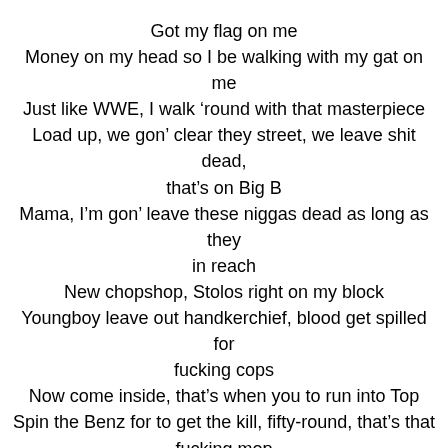Got my flag on me
Money on my head so I be walking with my gat on me
Just like WWE, I walk ‘round with that masterpiece
Load up, we gon’ clear they street, we leave shit dead, that’s on Big B
Mama, I’m gon’ leave these niggas dead as long as they in reach
New chopshop, Stolos right on my block
Youngboy leave out handkerchief, blood get spilled for fucking cops
Now come inside, that’s when you to run into Top
Spin the Benz for to get the kill, fifty-round, that’s that fucking mop
Let thirteen up out that chop, stretch ‘em that don’t fuck up my heat